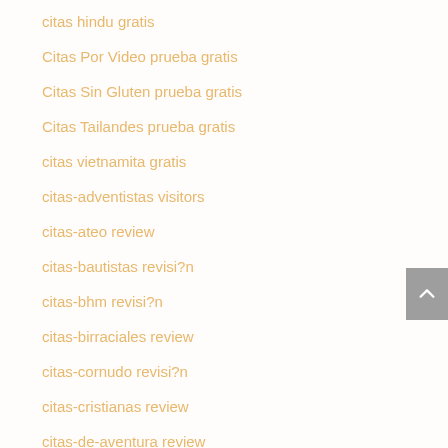citas hindu gratis
Citas Por Video prueba gratis
Citas Sin Gluten prueba gratis
Citas Tailandes prueba gratis
citas vietnamita gratis
citas-adventistas visitors
citas-ateo review
citas-bautistas revisi?n
citas-bhm revisi?n
citas-birraciales review
citas-cornudo revisi?n
citas-cristianas review
citas-de-aventura review
citas-de-aventura revisi?n
citas-de-aventura visitors